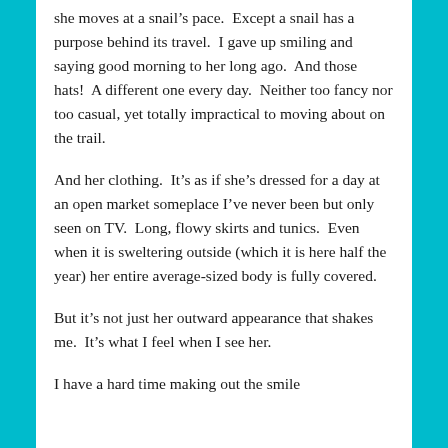she moves at a snail's pace.  Except a snail has a purpose behind its travel.  I gave up smiling and saying good morning to her long ago.  And those hats!  A different one every day.  Neither too fancy nor too casual, yet totally impractical to moving about on the trail.
And her clothing.  It's as if she's dressed for a day at an open market someplace I've never been but only seen on TV.  Long, flowy skirts and tunics.  Even when it is sweltering outside (which it is here half the year) her entire average-sized body is fully covered.
But it's not just her outward appearance that shakes me.  It's what I feel when I see her.
I have a hard time making out the smile...